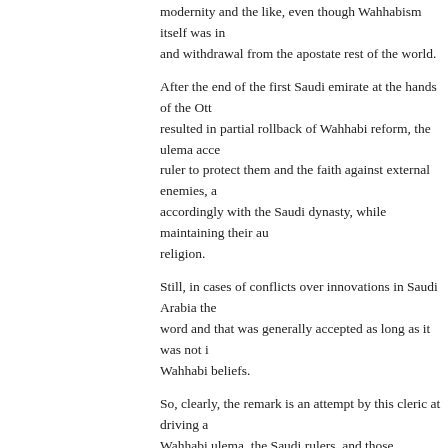modernity and the like, even though Wahhabism itself was in... and withdrawal from the apostate rest of the world.
After the end of the first Saudi emirate at the hands of the Ott... resulted in partial rollback of Wahhabi reform, the ulema acce... ruler to protect them and the faith against external enemies, a... accordingly with the Saudi dynasty, while maintaining their au... religion.
Still, in cases of conflicts over innovations in Saudi Arabia the... word and that was generally accepted as long as it was not i... Wahhabi beliefs.
So, clearly, the remark is an attempt by this cleric at driving a... Wahhabi ulema, the Saudi rulers, and those Islamists in Sau... consider their rulers as impious and thus outside the Wahhab...
Posted by: confusedponderer | 17 April 2015 at 11:22 AM
[Figure (illustration): Green geometric avatar image with overlapping leaf/fan pattern on white background]
I'm trying to figure out who's Ferdinand, who's Cardinal Riche... Adolphus in this fight. I suspect it's going to end very, very ba...
Posted by: Matthew | 17 April 2015 at 11:54 AM